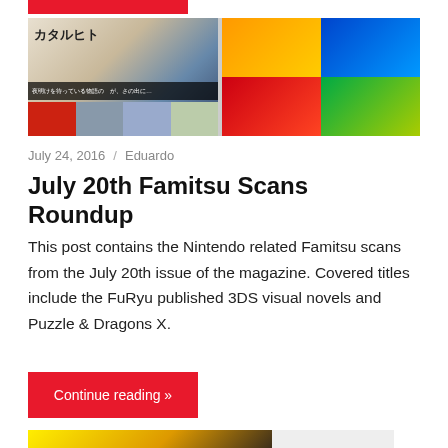[Figure (photo): Red bar / category label at top of blog post]
[Figure (photo): Two Famitsu magazine scan images side by side: left shows Japanese visual novel pages with kanji text カタルヒト and manga-style artwork; right shows colorful Puzzle & Dragons X scans with game characters and vibrant color blocks]
July 24, 2016 / Eduardo
July 20th Famitsu Scans Roundup
This post contains the Nintendo related Famitsu scans from the July 20th issue of the magazine. Covered titles include the FuRyu published 3DS visual novels and Puzzle & Dragons X.
Continue reading »
[Figure (photo): Bottom cropped image showing anime characters and a white device, partially visible]